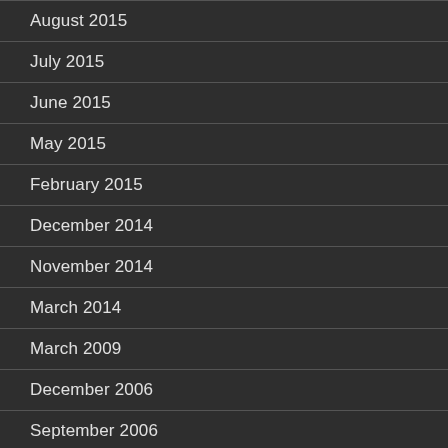August 2015
July 2015
June 2015
May 2015
February 2015
December 2014
November 2014
March 2014
March 2009
December 2006
September 2006